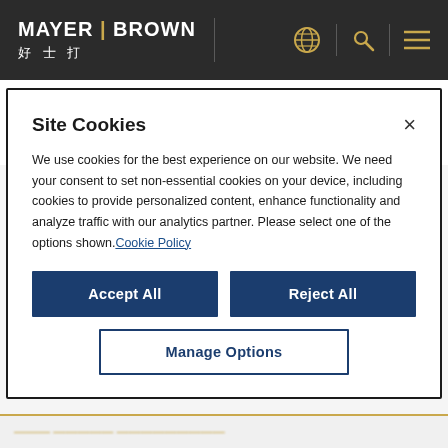MAYER | BROWN 好士打
8 月 17 日
2022 年
Site Cookies
We use cookies for the best experience on our website. We need your consent to set non-essential cookies on your device, including cookies to provide personalized content, enhance functionality and analyze traffic with our analytics partner. Please select one of the options shown. Cookie Policy
Accept All
Reject All
Manage Options